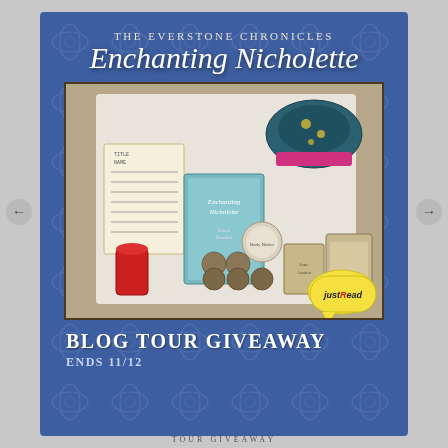THE EVERSTONE CHRONICLES
Enchanting Nicholette
[Figure (photo): Flat lay photo of book giveaway prize items including: the book 'Enchanting Nicholette' by Dawn Kandall, a library card, decorative socks, small round tins/buttons, a Jane Austen book, a rubber stamp, body butter, red lipstick, and other accessories on a white cloth background. A JustRead yellow speech bubble logo is in the bottom right corner of the photo.]
BLOG TOUR GIVEAWAY
ENDS 11/12